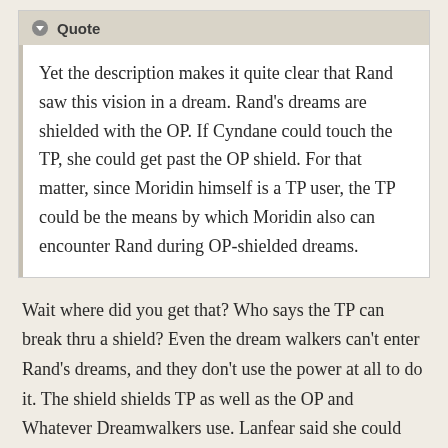Quote — Yet the description makes it quite clear that Rand saw this vision in a dream. Rand's dreams are shielded with the OP. If Cyndane could touch the TP, she could get past the OP shield. For that matter, since Moridin himself is a TP user, the TP could be the means by which Moridin also can encounter Rand during OP-shielded dreams.
Wait where did you get that? Who says the TP can break thru a shield? Even the dream walkers can't enter Rand's dreams, and they don't use the power at all to do it. The shield shields TP as well as the OP and Whatever Dreamwalkers use. Lanfear said she could break it, but it would be painful to him.